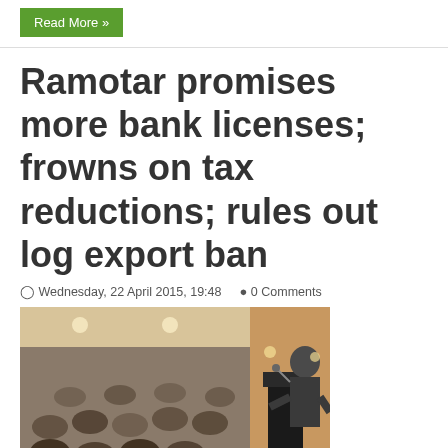Read More »
Ramotar promises more bank licenses; frowns on tax reductions; rules out log export ban
Wednesday, 22 April 2015, 19:48   0 Comments
[Figure (photo): A speaker stands at a podium addressing a large seated audience in a banquet hall setting.]
Last Updated on Wednesday, 22 April 2015